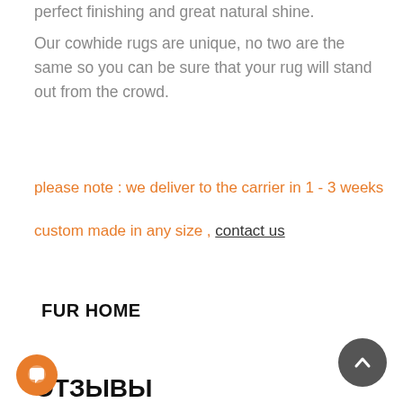perfect finishing and great natural shine.
Our cowhide rugs are unique, no two are the same so you can be sure that your rug will stand out from the crowd.
please note : we deliver to the carrier in 1 - 3 weeks
custom made in any size , contact us
FUR HOME
ОТЗЫВЫ